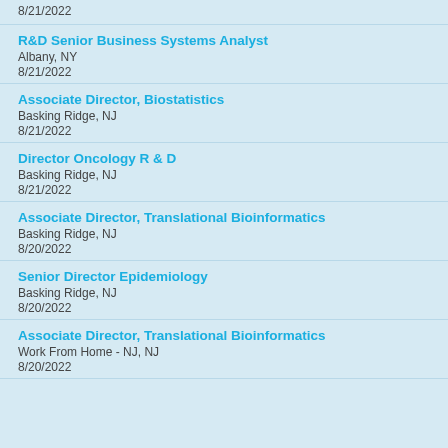8/21/2022
R&D Senior Business Systems Analyst
Albany, NY
8/21/2022
Associate Director, Biostatistics
Basking Ridge, NJ
8/21/2022
Director Oncology R & D
Basking Ridge, NJ
8/21/2022
Associate Director, Translational Bioinformatics
Basking Ridge, NJ
8/20/2022
Senior Director Epidemiology
Basking Ridge, NJ
8/20/2022
Associate Director, Translational Bioinformatics
Work From Home - NJ, NJ
8/20/2022